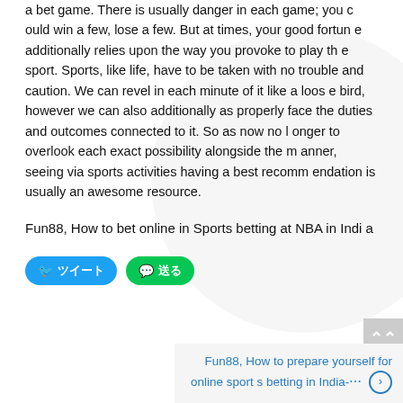a bet game. There is usually danger in each game; you could win a few, lose a few. But at times, your good fortune additionally relies upon the way you provoke to play the sport. Sports, like life, have to be taken with no trouble and caution. We can revel in each minute of it like a loose bird, however we can also additionally as properly face the duties and outcomes connected to it. So as now no longer to overlook each exact possibility alongside the manner, seeing via sports activities having a best recommendation is usually an awesome resource.
Fun88, How to bet online in Sports betting at NBA in India
[Figure (other): Social sharing buttons: Twitter button (blue, rounded) and Line button (green, rounded) with icons and Japanese text]
Fun88, How to prepare yourself for online sports betting in India-⋯ >